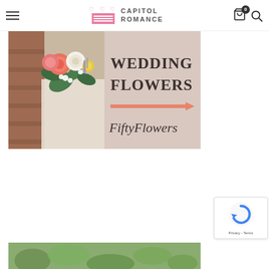Capitol Romance — navigation bar with hamburger menu, logo, cart icon with badge 0, and search icon
[Figure (photo): Wedding flowers promotional image split in two halves: left half shows a colorful bridal bouquet with coral, pink roses, yellow blooms and greenery against a lace dress and brick background; right half is a light blush/beige panel with text 'WEDDING FLOWERS' in large dark serif font, a coral/salmon arrow pointing right, and 'FiftyFlowers' in a handwritten/script font]
[Figure (other): reCAPTCHA widget showing Google reCAPTCHA logo (blue circular arrow icon) with text 'Privacy - Terms' at bottom]
[Figure (photo): Partial bottom image, appears to show floral/greenery content, partially cropped]